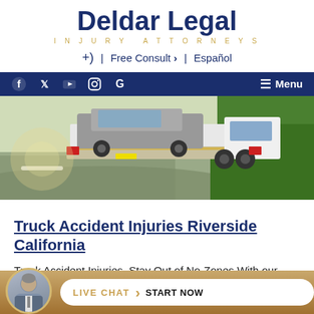Deldar Legal | INJURY ATTORNEYS | Free Consult > | Español
[Figure (screenshot): Social media navigation bar with Facebook, Twitter, YouTube, Instagram, Google icons and Menu button on dark blue background]
[Figure (photo): Flatbed tow truck carrying a vehicle on a road with green trees in background]
Truck Accident Injuries Riverside California
Truck Accident Injuries, Stay Out of No-Zones With our close proximity to downtown Los Angeles and the numb... major... it is